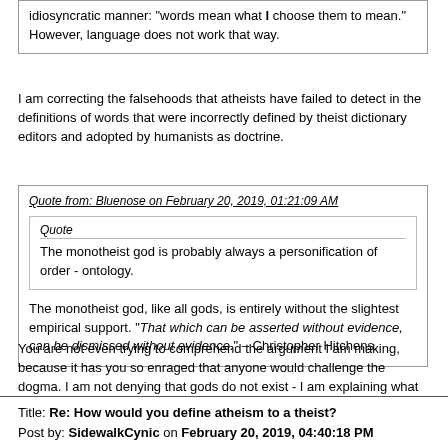idiosyncratic manner: "words mean what I choose them to mean." However, language does not work that way.
I am correcting the falsehoods that atheists have failed to detect in the definitions of words that were incorrectly defined by theist dictionary editors and adopted by humanists as doctrine.
Quote from: Bluenose on February 20, 2019, 01:21:09 AM
Quote
The monotheist god is probably always a personification of order - ontology.
The monotheist god, like all gods, is entirely without the slightest empirical support. "That which can be asserted without evidence, can be dismissed without evidence." – Christopher Hitchens.
You are not even trying to comprehend the argument I am making, because it has you so enraged that anyone would challenge the dogma. I am not denying that gods do not exist - I am explaining what the story line does for theists.
Title: Re: How would you define atheism to a theist?
Post by: SidewalkCynic on February 20, 2019, 04:40:18 PM